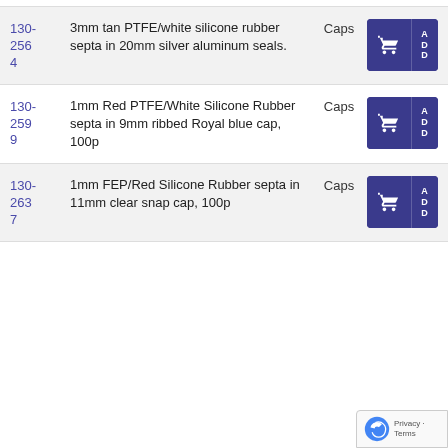130-2564 | 3mm tan PTFE/white silicone rubber septa in 20mm silver aluminum seals. | Caps
130-2599 | 1mm Red PTFE/White Silicone Rubber septa in 9mm ribbed Royal blue cap, 100p | Caps
130-2637 | 1mm FEP/Red Silicone Rubber septa in 11mm clear snap cap, 100p | Caps